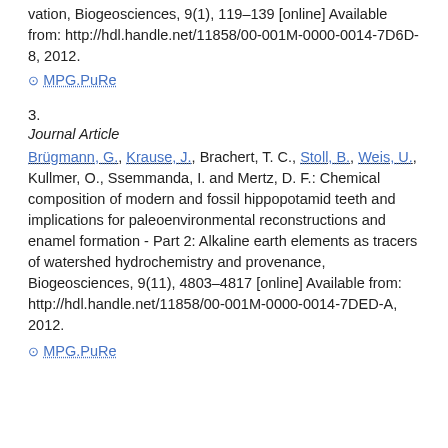vation, Biogeosciences, 9(1), 119–139 [online] Available from: http://hdl.handle.net/11858/00-001M-0000-0014-7D6D-8, 2012.
⊙ MPG.PuRe
3.
Journal Article
Brügmann, G., Krause, J., Brachert, T. C., Stoll, B., Weis, U., Kullmer, O., Ssemmanda, I. and Mertz, D. F.: Chemical composition of modern and fossil hippopotamid teeth and implications for paleoenvironmental reconstructions and enamel formation - Part 2: Alkaline earth elements as tracers of watershed hydrochemistry and provenance, Biogeosciences, 9(11), 4803–4817 [online] Available from: http://hdl.handle.net/11858/00-001M-0000-0014-7DED-A, 2012.
⊙ MPG.PuRe